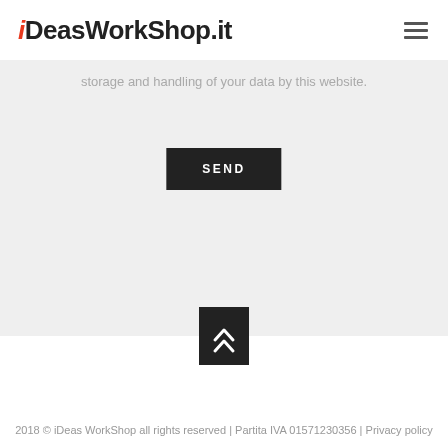iDeasWorkShop.it
storage and handling of your data by this website.
SEND
[Figure (illustration): Scroll-to-top button: dark square with double chevron/arrow pointing up]
2018 © iDeas WorkShop all rights reserved | Partita IVA 01571230356 | Privacy policy